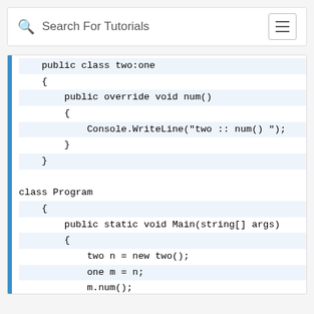Search For Tutorials
public class two:one
    {
        public override void num()
        {
            Console.WriteLine("two :: num() ");
        }
    }

class Program
    {
        public static void Main(string[] args)
        {
            two n = new two();
            one m = n;
            m.num();
            n.num();
        }
    }
}